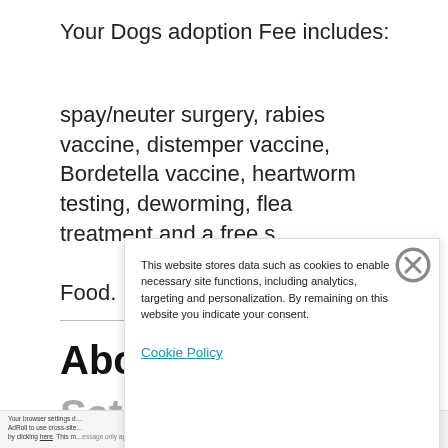Your Dogs adoption Fee includes:
spay/neuter surgery, rabies vaccine, distemper vaccine, Bordetella vaccine, heartworm testing, deworming, flea treatment and a free s… Food.
Abo…
Satis…
Your browser settings d… AdRoll to use cross-site… by clicking here. This m…
[Figure (screenshot): Cookie consent popup overlay with close button, body text about data storage, and Cookie Policy link]
This website stores data such as cookies to enable necessary site functions, including analytics, targeting and personalization. By remaining on this website you indicate your consent.
Cookie Policy